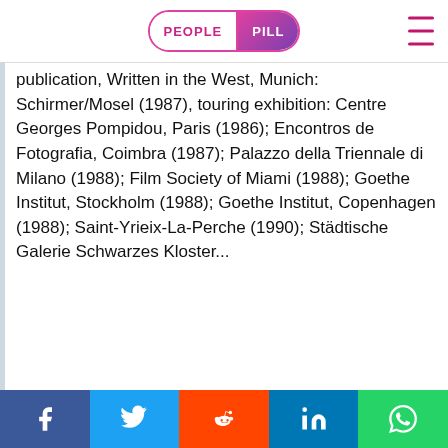PEOPLE PILL
publication, Written in the West, Munich: Schirmer/Mosel (1987), touring exhibition: Centre Georges Pompidou, Paris (1986); Encontros de Fotografia, Coimbra (1987); Palazzo della Triennale di Milano (1988); Film Society of Miami (1988); Goethe Institut, Stockholm (1988); Goethe Institut, Copenhagen (1988); Saint-Yrieix-La-Perche (1990); Städtische Galerie Schwarzes Kloster...
LEGACY AND ...
Wenders has ... the Golden Li...
[Figure (other): Cookie consent modal overlay with gradient purple-pink background, text 'This website uses cookies to ensure you get the best experience on our website. Learn more' and a gold 'Got it!' button]
Social share bar: Facebook, Twitter, Reddit, LinkedIn, WhatsApp